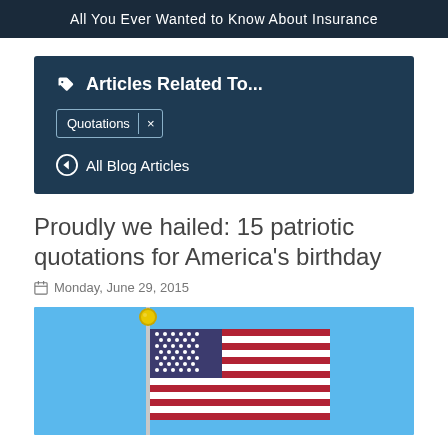All You Ever Wanted to Know About Insurance
Articles Related To...
Quotations ×
All Blog Articles
Proudly we hailed: 15 patriotic quotations for America's birthday
Monday, June 29, 2015
[Figure (photo): American flag waving against a clear blue sky, with a gold ball finial at the top of the flagpole]